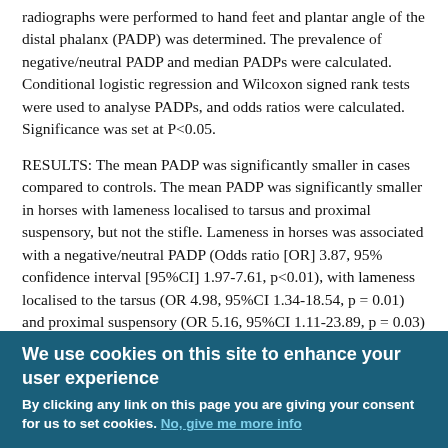radiographs were performed to hand feet and plantar angle of the distal phalanx (PADP) was determined. The prevalence of negative/neutral PADP and median PADPs were calculated. Conditional logistic regression and Wilcoxon signed rank tests were used to analyse PADPs, and odds ratios were calculated. Significance was set at P<0.05.
RESULTS: The mean PADP was significantly smaller in cases compared to controls. The mean PADP was significantly smaller in horses with lameness localised to tarsus and proximal suspensory, but not the stifle. Lameness in horses was associated with a negative/neutral PADP (Odds ratio [OR] 3.87, 95% confidence interval [95%CI] 1.97-7.61, p<0.01), with lameness localised to the tarsus (OR 4.98, 95%CI 1.34-18.54, p = 0.01) and proximal suspensory (OR 5.16, 95%CI 1.11-23.89, p = 0.03) being associated with a negative/neutral PADP.
MAIN LIMITATIONS: It is unknown whether the
We use cookies on this site to enhance your user experience
By clicking any link on this page you are giving your consent for us to set cookies. No, give me more info